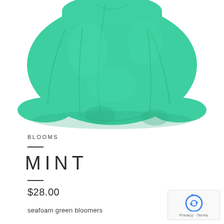[Figure (photo): Mint/seafoam green baby bloomers on a white background, showing the fabric texture and gathered elastic edges]
BLOOMS
MINT
$28.00
seafoam green bloomers